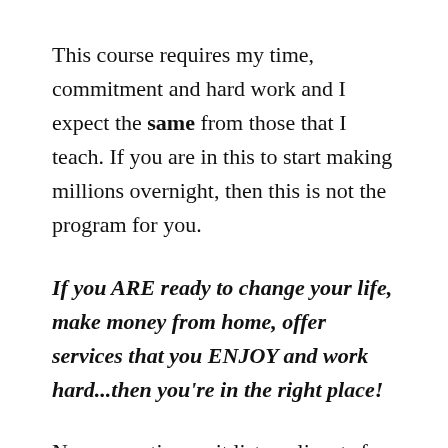This course requires my time, commitment and hard work and I expect the same from those that I teach. If you are in this to start making millions overnight, then this is not the program for you.
If you ARE ready to change your life, make money from home, offer services that you ENJOY and work hard...then you're in the right place!
Now accepting wait list applicants for when the course launches this summer!